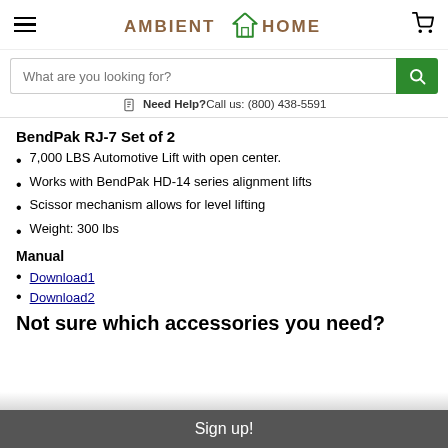AMBIENT HOME
What are you looking for?
Need Help? Call us: (800) 438-5591
BendPak RJ-7 Set of 2
7,000 LBS Automotive Lift with open center.
Works with BendPak HD-14 series alignment lifts
Scissor mechanism allows for level lifting
Weight: 300 lbs
Manual
Download1
Download2
Not sure which accessories you need?
Sign up!